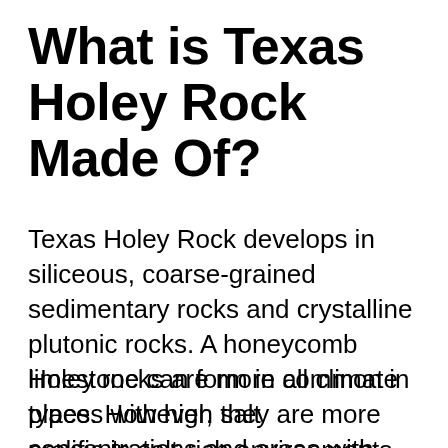What is Texas Holey Rock Made Of?
Texas Holey Rock develops in siliceous, coarse-grained sedimentary rocks and crystalline plutonic rocks. A honeycomb limestone can form in all climate types. However, they are more prolific in salt-rich environments like deserts and coastal zones.
Holey rocks are more common in places with high salt concentrations and areas with frequent or occasional desiccating